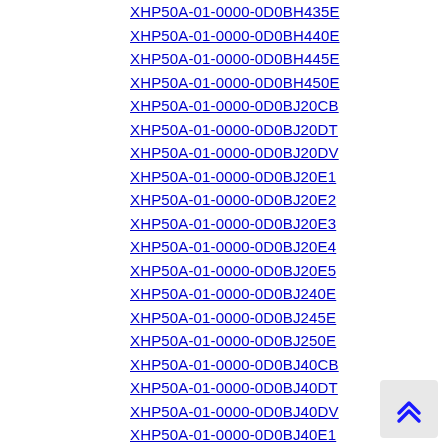XHP50A-01-0000-0D0BH435E
XHP50A-01-0000-0D0BH440E
XHP50A-01-0000-0D0BH445E
XHP50A-01-0000-0D0BH450E
XHP50A-01-0000-0D0BJ20CB
XHP50A-01-0000-0D0BJ20DT
XHP50A-01-0000-0D0BJ20DV
XHP50A-01-0000-0D0BJ20E1
XHP50A-01-0000-0D0BJ20E2
XHP50A-01-0000-0D0BJ20E3
XHP50A-01-0000-0D0BJ20E4
XHP50A-01-0000-0D0BJ20E5
XHP50A-01-0000-0D0BJ240E
XHP50A-01-0000-0D0BJ245E
XHP50A-01-0000-0D0BJ250E
XHP50A-01-0000-0D0BJ40CB
XHP50A-01-0000-0D0BJ40DT
XHP50A-01-0000-0D0BJ40DV
XHP50A-01-0000-0D0BJ40E1
XHP50A-01-0000-0D0BJ40E2
XHP50A-01-0000-0D0HG227G
XHP50A-01-0000-0D0HG227H